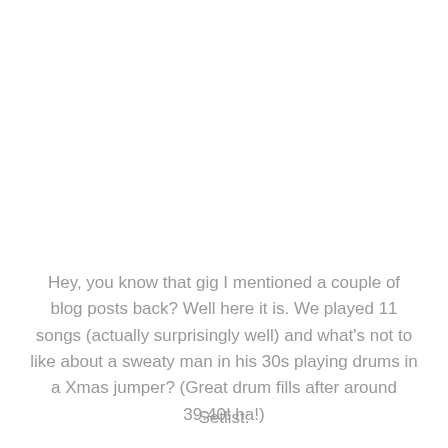Hey, you know that gig I mentioned a couple of blog posts back? Well here it is. We played 11 songs (actually surprisingly well) and what's not to like about a sweaty man in his 30s playing drums in a Xmas jumper? (Great drum fills after around 39:40! ha!)
Setlist: